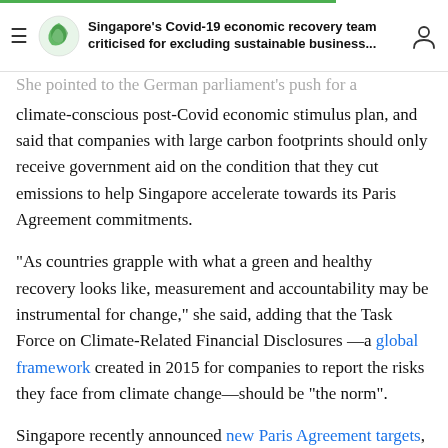Singapore's Covid-19 economic recovery team criticised for excluding sustainable business...
She pointed to the German parliament's push for a climate-conscious post-Covid economic stimulus plan, and said that companies with large carbon footprints should only receive government aid on the condition that they cut emissions to help Singapore accelerate towards its Paris Agreement commitments.
“As countries grapple with what a green and healthy recovery looks like, measurement and accountability may be instrumental for change,” she said, adding that the Task Force on Climate-Related Financial Disclosures—a global framework created in 2015 for companies to report the risks they face from climate change—should be “the norm”.
Singapore recently announced new Paris Agreement targets, aiming for its emissions to peak by 2030, and